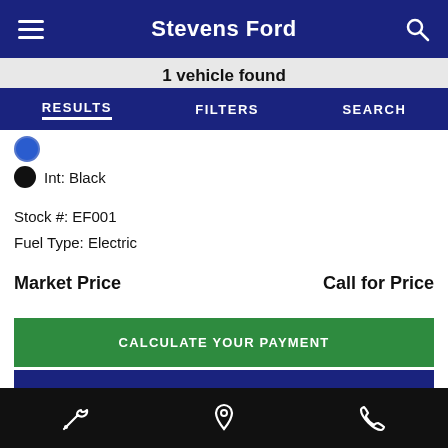Stevens Ford
1 vehicle found
RESULTS | FILTERS | SEARCH
Int: Black
Stock #: EF001
Fuel Type: Electric
Market Price   Call for Price
CALCULATE YOUR PAYMENT
GET TODAY'S PRICE
GET APPROVED
[wrench icon] [location icon] [phone icon]